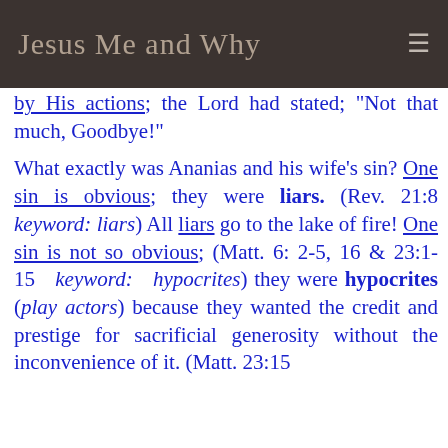Jesus Me and Why
by His actions; the Lord had stated; "Not that much, Goodbye!"
What exactly was Ananias and his wife's sin? One sin is obvious; they were liars. (Rev. 21:8 keyword: liars) All liars go to the lake of fire! One sin is not so obvious; (Matt. 6: 2-5, 16 & 23:1-15 keyword: hypocrites) they were hypocrites (play actors) because they wanted the credit and prestige for sacrificial generosity without the inconvenience of it. (Matt. 23:15